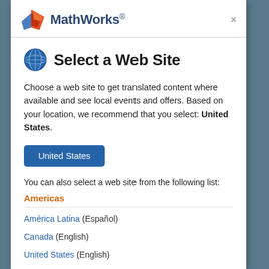[Figure (logo): MathWorks logo with triangular peak icon in red/orange gradient and blue, followed by MathWorks® wordmark in dark blue]
Select a Web Site
Choose a web site to get translated content where available and see local events and offers. Based on your location, we recommend that you select: United States.
United States (button)
You can also select a web site from the following list:
Americas
América Latina (Español)
Canada (English)
United States (English)
Europe